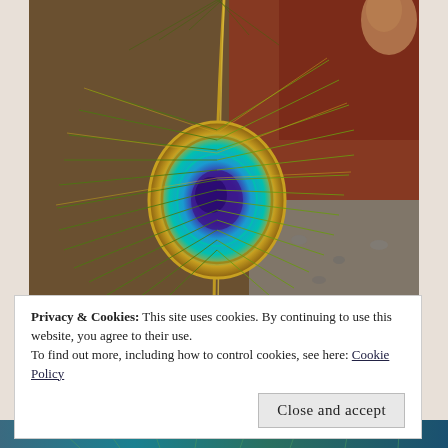[Figure (photo): Close-up photograph of a peacock feather showing the iridescent eye pattern with teal, blue, purple, and gold colors, resting on a reddish-brown surface with gravel visible in the background.]
Privacy & Cookies: This site uses cookies. By continuing to use this website, you agree to their use.
To find out more, including how to control cookies, see here: Cookie Policy
Close and accept
[Figure (photo): Bottom strip of another peacock feather photograph.]